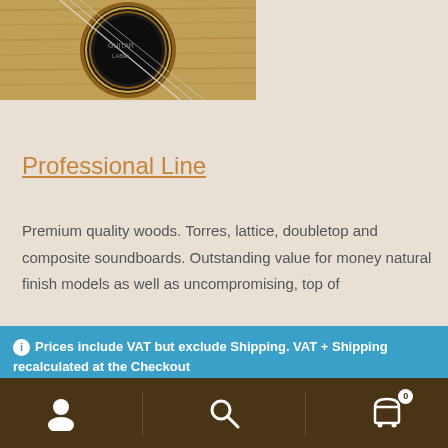[Figure (photo): Close-up photo of a classical guitar soundhole showing the rosette detail and strings against a natural wood top]
Professional Line
Premium quality woods. Torres, lattice, doubletop and composite soundboards. Outstanding value for money natural finish models as well as uncompromising, top of
Prices include VAT but exclude Shipping. VAT + Shipping recalculated at the Checkout
Dismiss